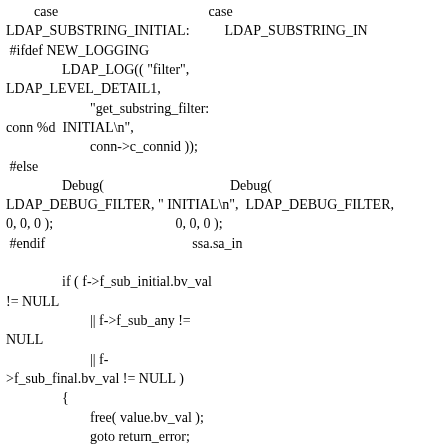case LDAP_SUBSTRING_INITIAL:
#ifdef NEW_LOGGING
            LDAP_LOG(( "filter",
LDAP_LEVEL_DETAIL1,
                    "get_substring_filter:
conn %d  INITIAL\n",
                    conn->c_connid ));
 #else
            Debug(                                            Debug(
LDAP_DEBUG_FILTER, " INITIAL\n",  LDAP_DEBUG_FILTER,
0, 0, 0 );                                 0, 0, 0 );
 #endif                                                  ssa.sa_in

            if ( f->f_sub_initial.bv_val
!= NULL
                    || f->f_sub_any !=
NULL
                    || f-
>f_sub_final.bv_val != NULL )
            {
                    free( value.bv_val );
                    goto return_error;
            }